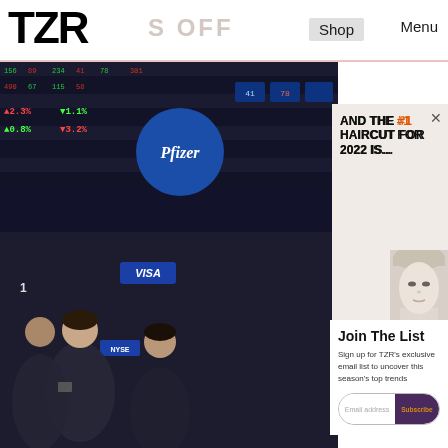TZR
Shop  Menu
[Figure (photo): Stock exchange trading floor with Pfizer logo, ticker boards, Visa sign, NYSE sign, and traders in background]
AND THE #1 HAIRCUT FOR 2022 IS...
Join The List
Sign up for TZR's exclusive email list to uncover this season's top trends
Email address  Subscribe